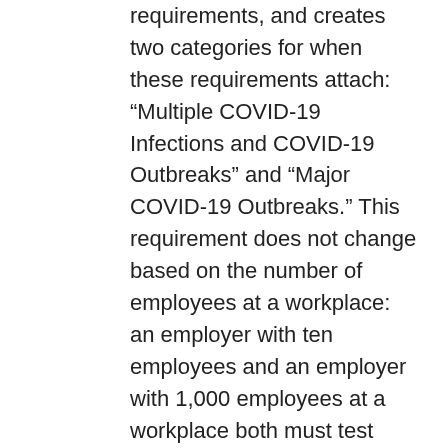requirements, and creates two categories for when these requirements attach: “Multiple COVID-19 Infections and COVID-19 Outbreaks” and “Major COVID-19 Outbreaks.” This requirement does not change based on the number of employees at a workplace: an employer with ten employees and an employer with 1,000 employees at a workplace both must test 100% of employees, with vastly different cost considerations. For larger employers, testing has the potential to be very costly.
For employers who provide housing and transportation to employees, there are special requirements such as ensuring housing units are cleaned at least once a day, providing six